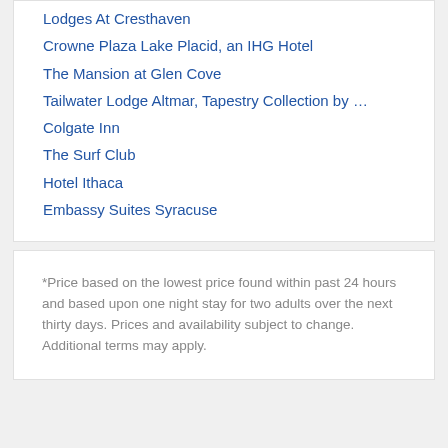Lodges At Cresthaven
Crowne Plaza Lake Placid, an IHG Hotel
The Mansion at Glen Cove
Tailwater Lodge Altmar, Tapestry Collection by …
Colgate Inn
The Surf Club
Hotel Ithaca
Embassy Suites Syracuse
*Price based on the lowest price found within past 24 hours and based upon one night stay for two adults over the next thirty days. Prices and availability subject to change. Additional terms may apply.